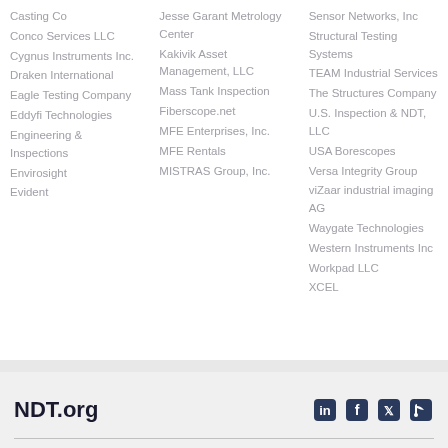Casting Co
Conco Services LLC
Cygnus Instruments Inc.
Draken International
Eagle Testing Company
Eddyfi Technologies
Engineering & Inspections
Envirosight
Evident
Jesse Garant Metrology Center
Kakivik Asset Management, LLC
Mass Tank Inspection
Fiberscope.net
MFE Enterprises, Inc.
MFE Rentals
MISTRAS Group, Inc.
Sensor Networks, Inc
Structural Testing Systems
TEAM Industrial Services
The Structures Company
U.S. Inspection & NDT, LLC
USA Borescopes
Versa Integrity Group
viZaar industrial imaging AG
Waygate Technologies
Western Instruments Inc
Workpad LLC
XCEL
NDT.org